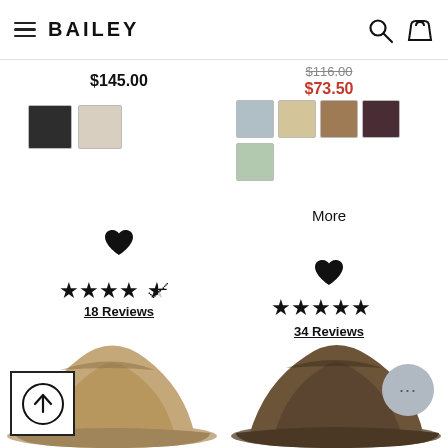BAILEY
$145.00
$116.00 $73.50
[Figure (other): Color swatches: dark charcoal and light beige]
[Figure (other): Color swatches: light grey, cream/tan, brown, dark purple/maroon, and light sage green]
More
[Figure (other): Heart/wishlist icon]
[Figure (other): Heart/wishlist icon]
[Figure (other): 4.5 star rating - 4 full stars and 1 half star]
18 Reviews
[Figure (other): 5 star rating - 5 full stars]
34 Reviews
[Figure (photo): Tan/camel colored fedora hat, bottom portion visible]
[Figure (photo): Dark olive/brown fedora hat, bottom portion visible]